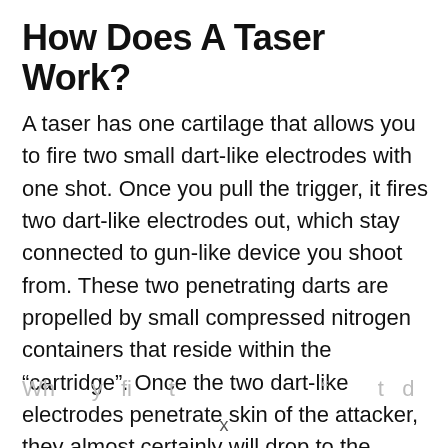How Does A Taser Work?
A taser has one cartilage that allows you to fire two small dart-like electrodes with one shot. Once you pull the trigger, it fires two dart-like electrodes out, which stay connected to gun-like device you shoot from. These two penetrating darts are propelled by small compressed nitrogen containers that reside within the “cartridge”. Once the two dart-like electrodes penetrate skin of the attacker, they almost certainly will drop to the ground and won’t be able to move much, if at all.
When you fire it...                    ”...t...d...
x